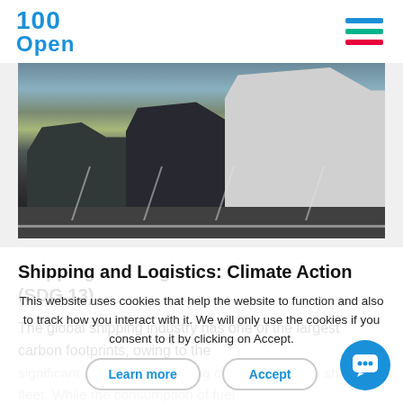100Open
[Figure (photo): Trucks parked in a parking lot, front-facing view showing grilles and hoods, outdoor daytime scene.]
Shipping and Logistics: Climate Action (SDG 13)
The global shipping industry has one of the largest carbon footprints, owing to the significant amount of fuel being consumed by the shipping fleet. While the consumption of fuel
This website uses cookies that help the website to function and also to track how you interact with it. We will only use the cookies if you consent to it by clicking on Accept.
Learn more   Accept